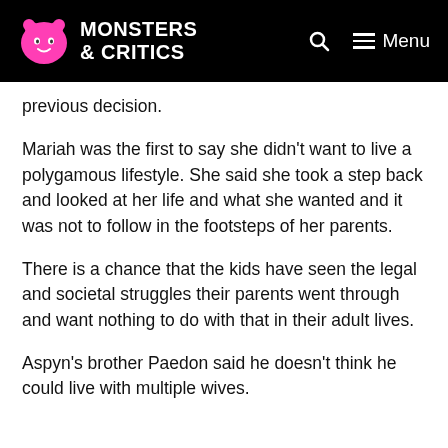Monsters & Critics | Menu
previous decision.
Mariah was the first to say she didn't want to live a polygamous lifestyle. She said she took a step back and looked at her life and what she wanted and it was not to follow in the footsteps of her parents.
There is a chance that the kids have seen the legal and societal struggles their parents went through and want nothing to do with that in their adult lives.
Aspyn's brother Paedon said he doesn't think he could live with multiple wives.